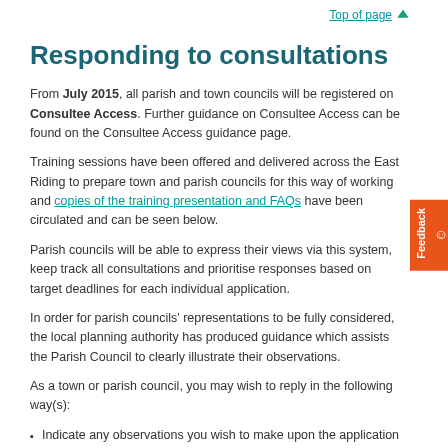Top of page
Responding to consultations
From July 2015, all parish and town councils will be registered on Consultee Access. Further guidance on Consultee Access can be found on the Consultee Access guidance page.
Training sessions have been offered and delivered across the East Riding to prepare town and parish councils for this way of working and copies of the training presentation and FAQs have been circulated and can be seen below.
Parish councils will be able to express their views via this system, keep track all consultations and prioritise responses based on target deadlines for each individual application.
In order for parish councils' representations to be fully considered, the local planning authority has produced guidance which assists the Parish Council to clearly illustrate their observations.
As a town or parish council, you may wish to reply in the following way(s):
Indicate any observations you wish to make upon the application
Recommend that the application should be approved and, if so, why
Recommend that, if approved, conditions should be imposed and state